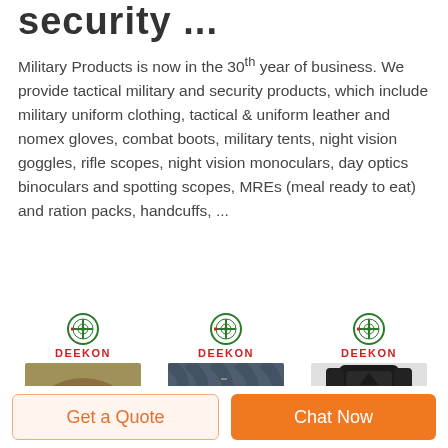security ...
Military Products is now in the 30th year of business. We provide tactical military and security products, which include military uniform clothing, tactical & uniform leather and nomex gloves, combat boots, military tents, night vision goggles, rifle scopes, night vision monoculars, day optics binoculars and spotting scopes, MREs (meal ready to eat) and ration packs, handcuffs, ...
[Figure (photo): DEEKON logo above a camouflage scarf/shemagh product photo]
[Figure (photo): DEEKON logo above a dark blue fabric/textile material photo]
[Figure (photo): DEEKON logo above a black tactical body armor/protective gear set photo]